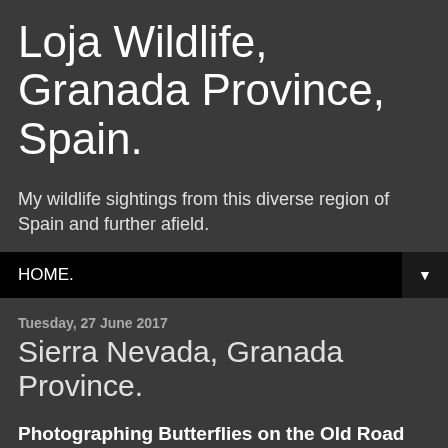Loja Wildlife, Granada Province, Spain.
My wildlife sightings from this diverse region of Spain and further afield.
HOME. ▼
Tuesday, 27 June 2017
Sierra Nevada, Granada Province.
Photographing Butterflies on the Old Road down the Sierra.
I dropped Jayne at the Sierra Nevada shopping Centre and then
[Figure (photo): Dark/black photograph, contents not clearly visible]